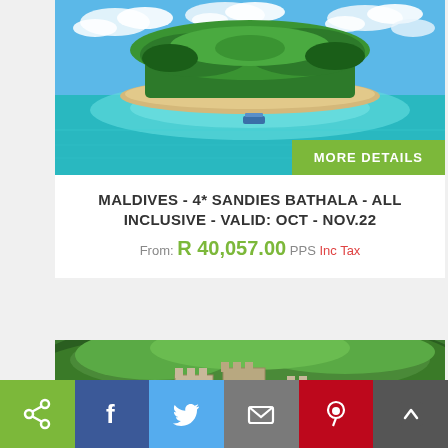[Figure (photo): Aerial view of a tropical island with turquoise water and lush green palm trees under a blue sky with clouds]
MORE DETAILS
MALDIVES - 4* SANDIES BATHALA - ALL INCLUSIVE - VALID: OCT - NOV.22
From: R 40,057.00 PPS Inc Tax
[Figure (photo): Castle or fortress with towers surrounded by dense green forest on a hillside]
Social share bar with icons: share, Facebook, Twitter, email, Pinterest, scroll-up